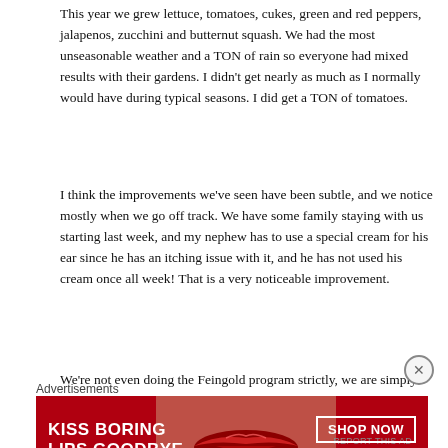This year we grew lettuce, tomatoes, cukes, green and red peppers, jalapenos, zucchini and butternut squash. We had the most unseasonable weather and a TON of rain so everyone had mixed results with their gardens. I didn't get nearly as much as I normally would have during typical seasons. I did get a TON of tomatoes.
I think the improvements we've seen have been subtle, and we notice mostly when we go off track. We have some family staying with us starting last week, and my nephew has to use a special cream for his ear since he has an itching issue with it, and he has not used his cream once all week! That is a very noticeable improvement.
We're not even doing the Feingold program strictly, we are simply making scratch meals. It's a ton of work but it's worth it! I am blessed enough to stay home
Advertisements
[Figure (infographic): Advertisement banner for Macy's lipstick: 'KISS BORING LIPS GOODBYE' with SHOP NOW button and Macy's star logo on red background with model's lips]